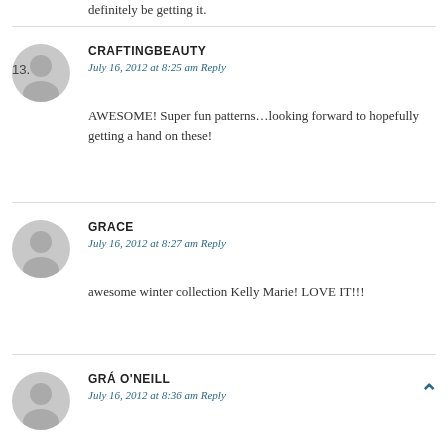definitely be getting it.
13. CRAFTINGBEAUTY — July 16, 2012 at 8:25 am Reply — AWESOME! Super fun patterns…looking forward to hopefully getting a hand on these!
14. GRACE — July 16, 2012 at 8:27 am Reply — awesome winter collection Kelly Marie! LOVE IT!!!
GRÁ O'NEILL — July 16, 2012 at 8:36 am Reply